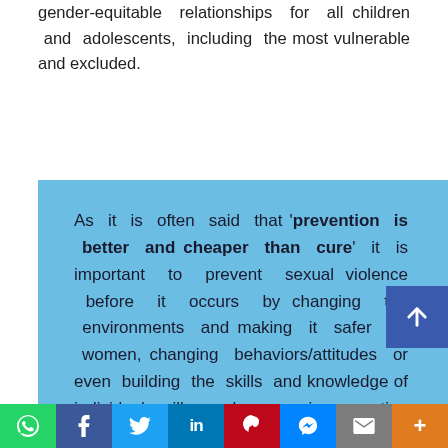gender-equitable relationships for all children and adolescents, including the most vulnerable and excluded.
As it is often said that 'prevention is better and cheaper than cure' it is important to prevent sexual violence before it occurs by changing the environments and making it safer for women, changing behaviors/attitudes or even building the skills and knowledge of individuals will go a long way in preventing violence. It is also important for victims of